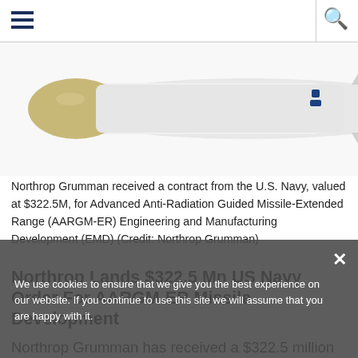Navigation bar with hamburger menu and search icon
[Figure (photo): Partial view of an AARGM-ER missile — white body with tan/beige nose cone, visible against white background]
Northrop Grumman received a contract from the U.S. Navy, valued at $322.5M, for Advanced Anti-Radiation Guided Missile-Extended Range (AARGM-ER) Engineering and Manufacturing Development (EMD) (Credit: Northrop Grumman)
Northrop Lands $322.5 Mn US Navy Order For AARGM-ER Missile Development
Northrop Grumman has received a $322.5 million contract from the U.S. Navy for the Advanced Anti-Radiation Guided Missile-Extended Range (AARGM-ER) Engineering and
We use cookies to ensure that we give you the best experience on our website. If you continue to use this site we will assume that you are happy with it.